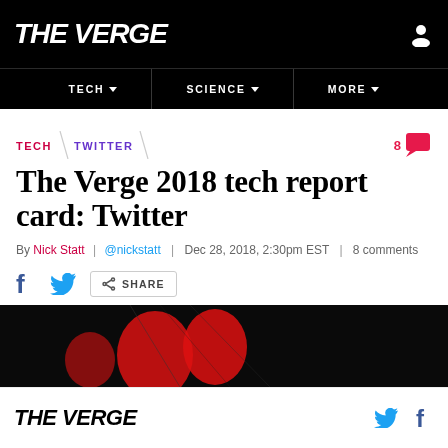THE VERGE
TECH  SCIENCE  MORE
TECH \ TWITTER
The Verge 2018 tech report card: Twitter
By Nick Statt | @nickstatt | Dec 28, 2018, 2:30pm EST | 8 comments
SHARE
[Figure (illustration): Dark hero image banner with red balloon shapes against a black background]
THE VERGE